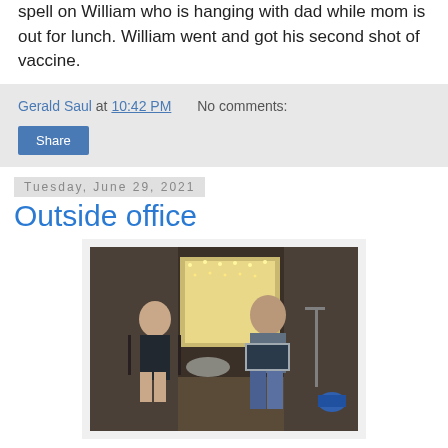spell on William who is hanging with dad while mom is out for lunch. William went and got his second shot of vaccine.
Gerald Saul at 10:42 PM   No comments:
Share
Tuesday, June 29, 2021
Outside office
[Figure (photo): Two people sitting in an outdoor or porch area. A woman on the left and a young man on the right using a laptop, with fairy lights visible in the background window.]
Margaret and William had the common sense I lacked as I slaved in my increasingly hot office upstairs to get my last